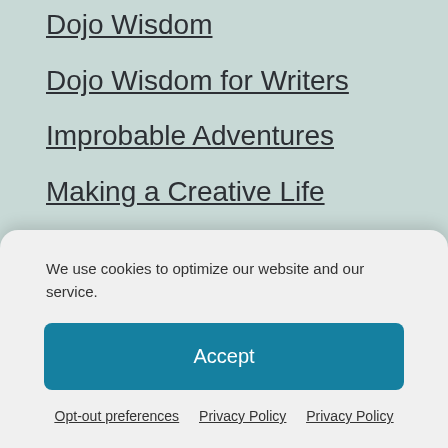Dojo Wisdom
Dojo Wisdom for Writers
Improbable Adventures
Making a Creative Life
Mastery
Mindfulness
Smiles
Stories about Jessica
We use cookies to optimize our website and our service.
Accept
Opt-out preferences   Privacy Policy   Privacy Policy